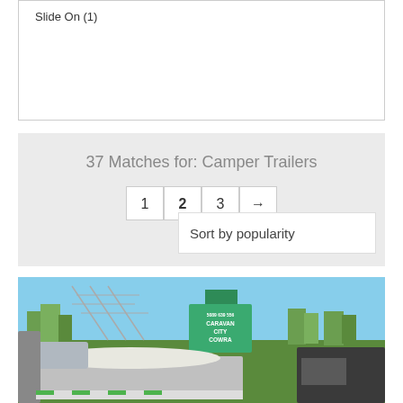Slide On (1)
37 Matches for: Camper Trailers
1 2 3 →
Sort by popularity
[Figure (photo): Outdoor photo of a camper trailer at a caravan dealership or display area. A sign reads 'CARAVAN CITY COWRA'. The trailer has a metal frame with a white canvas cover. Background shows open field, trees, and metal framework structures under blue sky.]